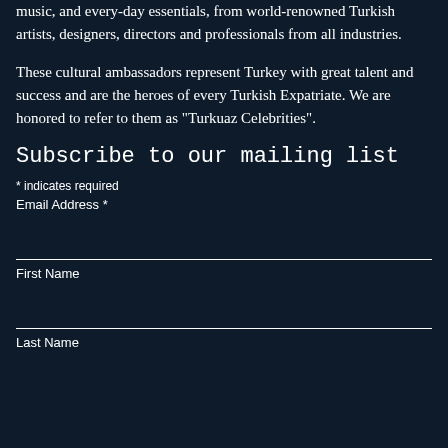music, and every-day essentials, from world-renowned Turkish artists, designers, directors and professionals from all industries.
These cultural ambassadors represent Turkey with great talent and success and are the heroes of every Turkish Expatriate. We are honored to refer to them as "Turkuaz Celebrities".
Subscribe to our mailing list
* indicates required
Email Address *
First Name
Last Name